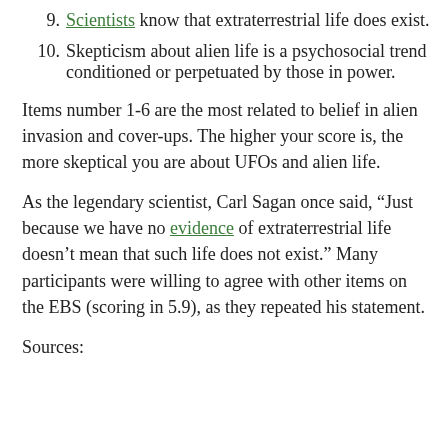9. Scientists know that extraterrestrial life does exist.
10. Skepticism about alien life is a psychosocial trend conditioned or perpetuated by those in power.
Items number 1-6 are the most related to belief in alien invasion and cover-ups. The higher your score is, the more skeptical you are about UFOs and alien life.
As the legendary scientist, Carl Sagan once said, “Just because we have no evidence of extraterrestrial life doesn’t mean that such life does not exist.” Many participants were willing to agree with other items on the EBS (scoring in 5.9), as they repeated his statement.
Sources: